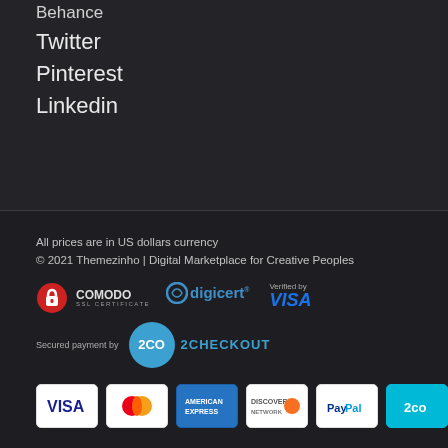Behance
Twitter
Pinterest
Linkedin
All prices are in US dollars currency
© 2021 Themezinho | Digital Marketplace for Creative Peoples
[Figure (logo): Comodo SSL Certificate badge, DigiCert badge, Verified by Visa badge, Secured payment by 2Checkout badge]
[Figure (logo): Payment icons: VISA, Mastercard, American Express, Discover, PayPal, 2CO]